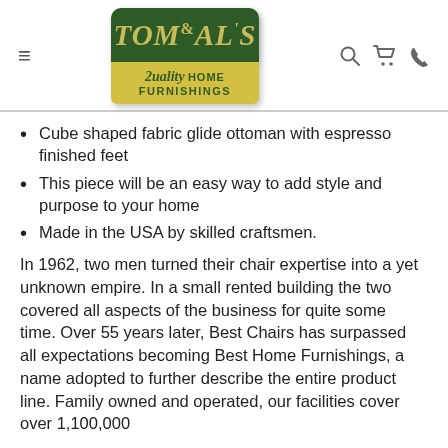[Figure (logo): Tom & Al's 2uality Home Furnishings logo — dark green sign shape with yellow script text banner]
Cube shaped fabric glide ottoman with espresso finished feet
This piece will be an easy way to add style and purpose to your home
Made in the USA by skilled craftsmen.
In 1962, two men turned their chair expertise into a yet unknown empire. In a small rented building the two covered all aspects of the business for quite some time. Over 55 years later, Best Chairs has surpassed all expectations becoming Best Home Furnishings, a name adopted to further describe the entire product line. Family owned and operated, our facilities cover over 1,100,000